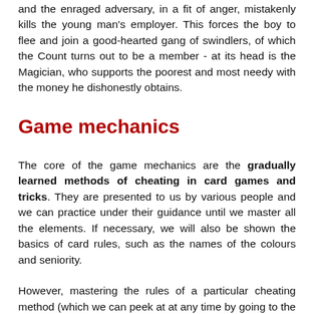and the enraged adversary, in a fit of anger, mistakenly kills the young man's employer. This forces the boy to flee and join a good-hearted gang of swindlers, of which the Count turns out to be a member - at its head is the Magician, who supports the poorest and most needy with the money he dishonestly obtains.
Game mechanics
The core of the game mechanics are the gradually learned methods of cheating in card games and tricks. They are presented to us by various people and we can practice under their guidance until we master all the elements. If necessary, we will also be shown the basics of card rules, such as the names of the colours and seniority.
However, mastering the rules of a particular cheating method (which we can peek at at any time by going to the menu) is only the first difficulty we encounter - during the game we often have to constantly remember the arrangement of cards or the advantage of a colour, sometimes having a very limited time for this, for example as long as it takes to fill someone's glass. We